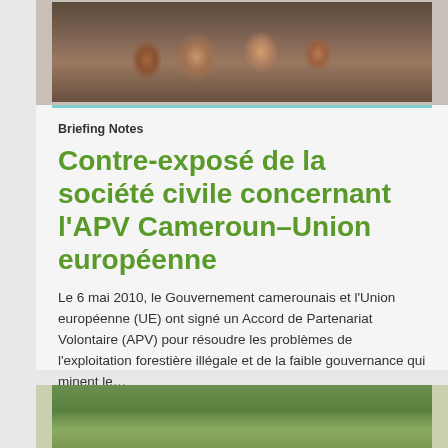[Figure (photo): Group of African people photographed from slightly above, with a teal/blue decorative line below the photo area]
Briefing Notes
Contre-exposé de la société civile concernant l'APV Cameroun–Union européenne
Le 6 mai 2010, le Gouvernement camerounais et l'Union européenne (UE) ont signé un Accord de Partenariat Volontaire (APV) pour résoudre les problèmes de l'exploitation forestière illégale et de la faible gouvernance qui minent le…
05/05/2010
Article disponible dans: Anglais, Français
[Figure (photo): Partial view of trees/forest landscape at the bottom of the page]